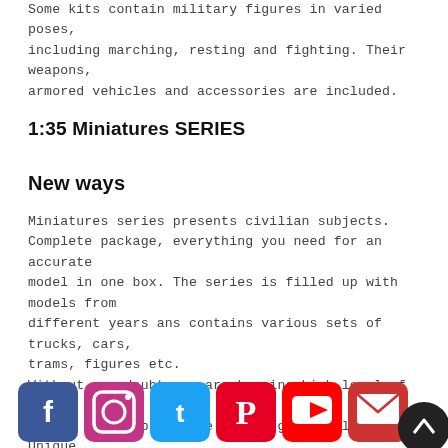Some kits contain military figures in varied poses, including marching, resting and fighting. Their weapons, armored vehicles and accessories are included.
1:35 Miniatures SERIES
New ways
Miniatures series presents civilian subjects. Complete package, everything you need for an accurate model in one box. The series is filled up with models from different years ans contains various sets of trucks, cars, trams, figures etc.
Without any doubts we are keeping high level of our models using up-to-date moulding technology. Unique nonmilitary subjects of the Miniatures series give new ways for modellers to enrich their imagination.
[Figure (infographic): Social media icon bar: Facebook, Instagram, Twitter, Pinterest, YouTube, Email icons, plus a dark circular scroll-to-top button]